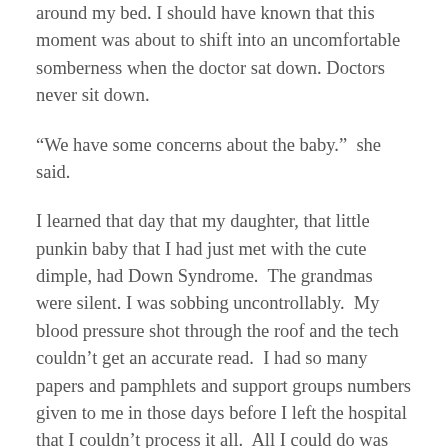around my bed. I should have known that this moment was about to shift into an uncomfortable somberness when the doctor sat down. Doctors never sit down.
“We have some concerns about the baby.”  she said.
I learned that day that my daughter, that little punkin baby that I had just met with the cute dimple, had Down Syndrome.  The grandmas were silent. I was sobbing uncontrollably.  My blood pressure shot through the roof and the tech couldn’t get an accurate read.  I had so many papers and pamphlets and support groups numbers given to me in those days before I left the hospital that I couldn’t process it all.  All I could do was love my daughter and try to push out the noise.
The noise won.